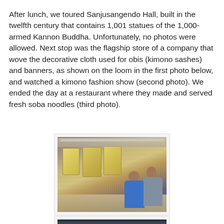After lunch, we toured Sanjusangendo Hall, built in the twelfth century that contains 1,001 statues of the 1,000-armed Kannon Buddha. Unfortunately, no photos were allowed. Next stop was the flagship store of a company that wove the decorative cloth used for obis (kimono sashes) and banners, as shown on the loom in the first photo below, and watched a kimono fashion show (second photo). We ended the day at a restaurant where they made and served fresh soba noodles (third photo).
[Figure (photo): Two people examining a traditional Japanese loom with decorative yellow patterned cloth panels and weaving threads. The loom has a wooden frame with many vertical threads. One person wears a blue shirt, another wears grey.]
[Figure (photo): Partial view of a second photo, appearing dark, likely showing a kimono fashion show.]